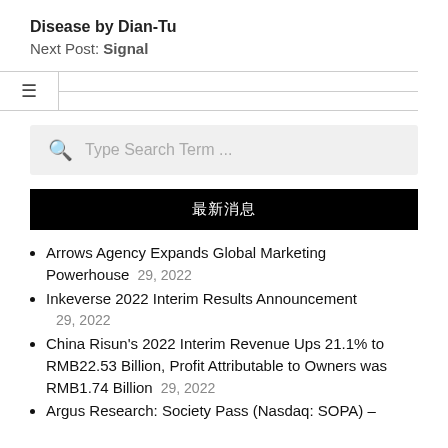Disease by Dian-Tu
Next Post: Signal
[Figure (other): Navigation bar with hamburger menu icon and horizontal line]
[Figure (other): Search bar with magnifying glass icon and placeholder text 'Type Search Term ...']
最新消息
Arrows Agency Expands Global Marketing Powerhouse   29, 2022
Inkeverse 2022 Interim Results Announcement   29, 2022
China Risun's 2022 Interim Revenue Ups 21.1% to RMB22.53 Billion, Profit Attributable to Owners was RMB1.74 Billion   29, 2022
Argus Research: Society Pass (Nasdaq: SOPA) –